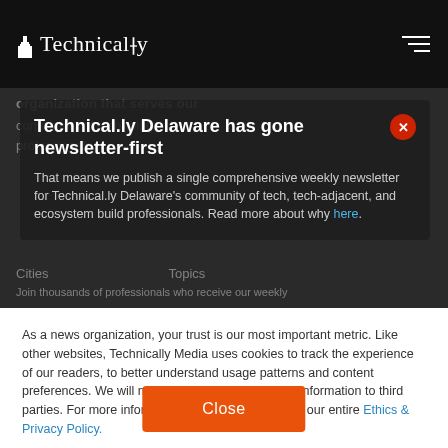Technically
organization that serves our community of technology professionals
Technical.ly Delaware has gone newsletter-first
That means we publish a single comprehensive weekly newsletter for Technical.ly Delaware's community of tech, tech-adjacent, and ecosystem build professionals. Read more about why here.
Cities   Topics
Join thousands of professionals who receive our weekly
As a news organization, your trust is our most important metric. Like other websites, Technically Media uses cookies to track the experience of our readers, to better understand usage patterns and content preferences. We will not sell or rent your personal information to third parties. For more information or to contact us, read our entire Ethics & Privacy Policy.
Close